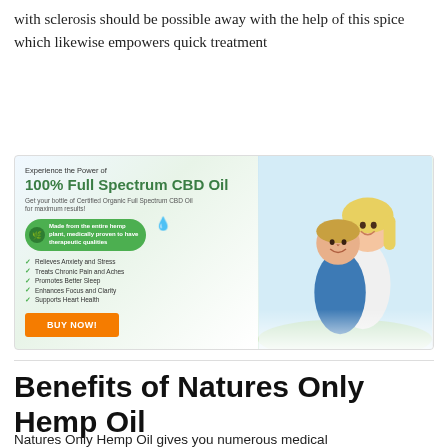with sclerosis should be possible away with the help of this spice which likewise empowers quick treatment
[Figure (infographic): CBD Oil advertisement banner with headline '100% Full Spectrum CBD Oil', benefits list (Relieves Anxiety and Stress, Treats Chronic Pain and Aches, Promotes Better Sleep, Enhances Focus and Clarity, Supports Heart Health), green pill badge, orange BUY NOW button, and photo of smiling couple]
Benefits of Natures Only Hemp Oil
Natures Only Hemp Oil gives you numerous medical